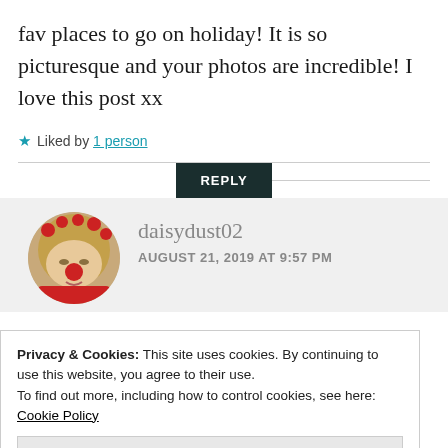fav places to go on holiday! It is so picturesque and your photos are incredible! I love this post xx
★ Liked by 1 person
REPLY
[Figure (photo): Circular avatar photo of a young woman with red flowers in her hair, wearing red clothing, lying down, looking at the camera.]
daisydust02
AUGUST 21, 2019 AT 9:57 PM
Privacy & Cookies: This site uses cookies. By continuing to use this website, you agree to their use.
To find out more, including how to control cookies, see here: Cookie Policy
Close and accept
with your own eyes to beleve how